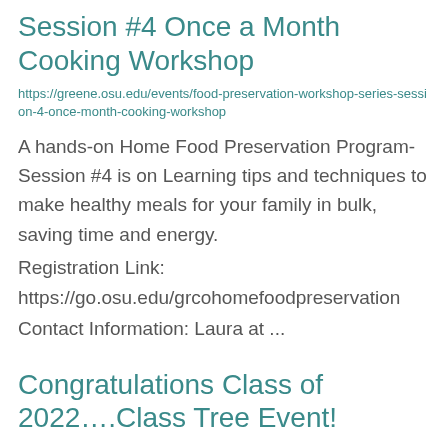Session #4 Once a Month Cooking Workshop
https://greene.osu.edu/events/food-preservation-workshop-series-session-4-once-month-cooking-workshop
A hands-on Home Food Preservation Program- Session #4 is on Learning tips and techniques to make healthy meals for your family in bulk, saving time and energy.
Registration Link:
https://go.osu.edu/grcohomefoodpreservation
Contact Information: Laura at ...
Congratulations Class of 2022….Class Tree Event!